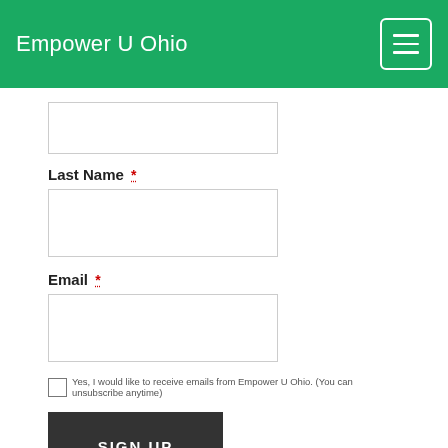Empower U Ohio
Last Name *
Email *
Yes, I would like to receive emails from Empower U Ohio. (You can unsubscribe anytime)
SIGN UP
Recent Posts
Are You the Next “Militia Violent Extremist?”